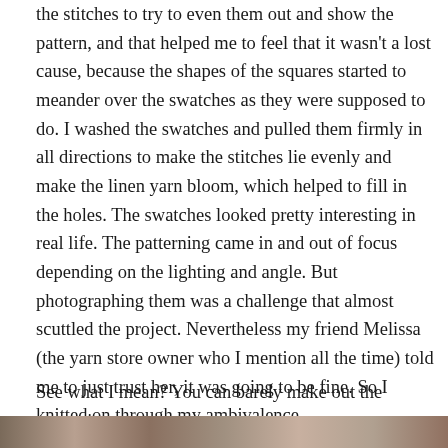the stitches to try to even them out and show the pattern, and that helped me to feel that it wasn't a lost cause, because the shapes of the squares started to meander over the swatches as they were supposed to do. I washed the swatches and pulled them firmly in all directions to make the stitches lie evenly and make the linen yarn bloom, which helped to fill in the holes. The swatches looked pretty interesting in real life. The patterning came in and out of focus depending on the lighting and angle. But photographing them was a challenge that almost scuttled the project. Nevertheless my friend Melissa (the yarn store owner who I mention all the time) told me to just trust her, it was going to be fine. So I knitted on through my ambivalence.
See what I mean? You can barely make out the patterning.
[Figure (photo): Partial view of a photo at the bottom of the page showing knitted swatches or yarn]